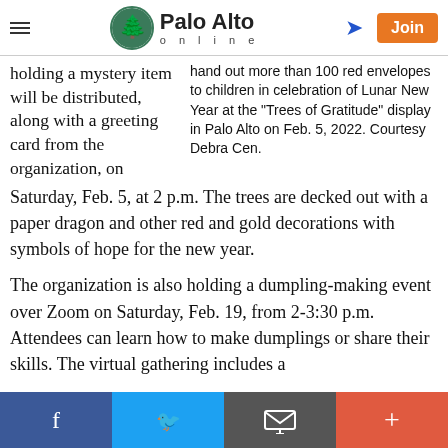Palo Alto online
holding a mystery item will be distributed, along with a greeting card from the organization, on
hand out more than 100 red envelopes to children in celebration of Lunar New Year at the "Trees of Gratitude" display in Palo Alto on Feb. 5, 2022. Courtesy Debra Cen.
Saturday, Feb. 5, at 2 p.m. The trees are decked out with a paper dragon and other red and gold decorations with symbols of hope for the new year.
The organization is also holding a dumpling-making event over Zoom on Saturday, Feb. 19, from 2-3:30 p.m. Attendees can learn how to make dumplings or share their skills. The virtual gathering includes a
Facebook | Twitter | Email | +